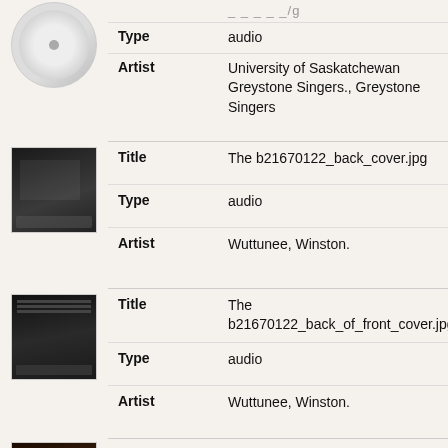[Figure (photo): Thumbnail of a vinyl record album cover (white label with text)]
| Field | Value |
| --- | --- |
| Type | audio |
| Artist | University of Saskatchewan Greystone Singers., Greystone Singers |
[Figure (photo): Thumbnail of a dark album back cover with a person]
| Field | Value |
| --- | --- |
| Title | The b21670122_back_cover.jpg |
| Type | audio |
| Artist | Wuttunee, Winston. |
[Figure (photo): Thumbnail of a dark album back of front cover]
| Field | Value |
| --- | --- |
| Title | The b21670122_back_of_front_cover.jpg |
| Type | audio |
| Artist | Wuttunee, Winston. |
[Figure (photo): Thumbnail of a person playing guitar on album front cover]
| Field | Value |
| --- | --- |
| Title | The b21670122_front_cover.jpg |